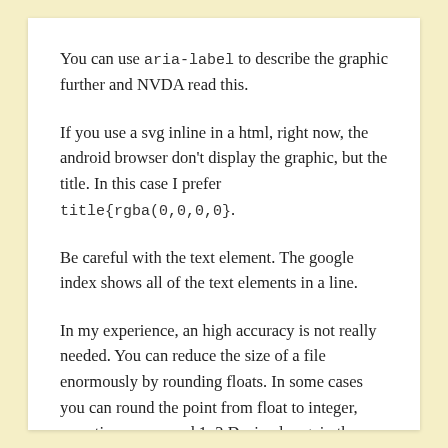You can use aria-label to describe the graphic further and NVDA read this.
If you use a svg inline in a html, right now, the android browser don’t display the graphic, but the title. In this case I prefer title{rgba(0,0,0,0}.
Be careful with the text element. The google index shows all of the text elements in a line.
In my experience, an high accuracy is not really needed. You can reduce the size of a file enormously by rounding floats. In some cases you can round the point from float to integer, sometimes you need 1–2 Decimal, e.g. in the